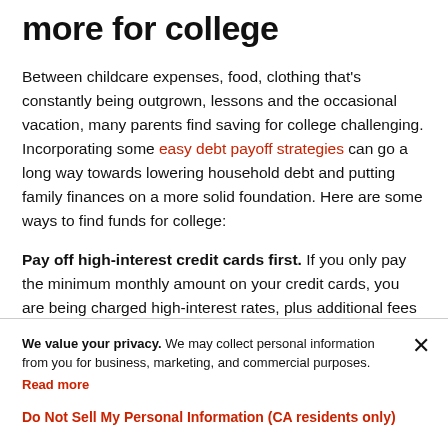more for college
Between childcare expenses, food, clothing that's constantly being outgrown, lessons and the occasional vacation, many parents find saving for college challenging. Incorporating some easy debt payoff strategies can go a long way towards lowering household debt and putting family finances on a more solid foundation. Here are some ways to find funds for college:
Pay off high-interest credit cards first. If you only pay the minimum monthly amount on your credit cards, you are being charged high-interest rates, plus additional fees if your payments are late. Interest and penalties can add up to hundreds of dollars each year per card.
Renegotiate with creditors and search for lower rates
We value your privacy. We may collect personal information from you for business, marketing, and commercial purposes. Read more
Do Not Sell My Personal Information (CA residents only)